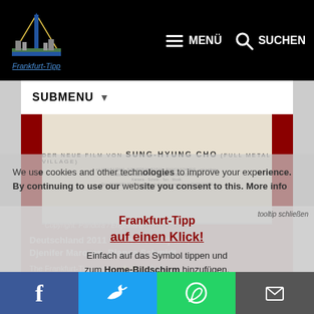Frankfurt-Tipp | MENÜ | SUCHEN
SUBMENU
[Figure (photo): Movie poster for 11 Girlfriends, showing text: DER NEUE FILM VON SUNG-HYUNG CHO (FULL METAL VILLAGE)]
Copyright: Pandora / Engelhard
11 Girlfriends
Deutschland 2011 · with Lica Bajram, Djenifer Marozan, Bianca Schmidt
The Frankfurt-Tipp rating: ★★☆☆☆
Movie info
Genre: Documentary
Direction: Sung-Hyung Cho
Cinema release: 23.05.2013
We use cookies and other technologies to improve your experience. By continuing to use our website you consent to this. More info
necessary | allow all!
Frankfurt-Tipp auf einen Klick!
Einfach auf das Symbol tippen und zum Home-Bildschirm hinzufügen.
tooltip schließen